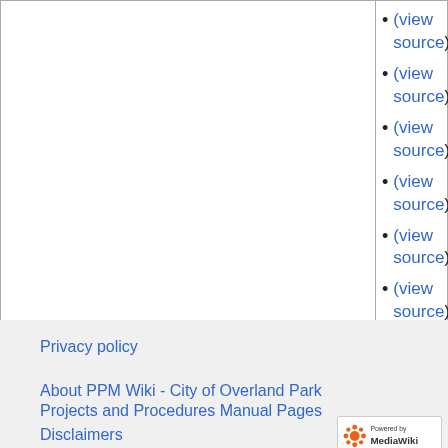(view source)
(view source)
(view source)
(view source)
(view source)
(view source)
Privacy policy
About PPM Wiki - City of Overland Park Projects and Procedures Manual Pages
Disclaimers